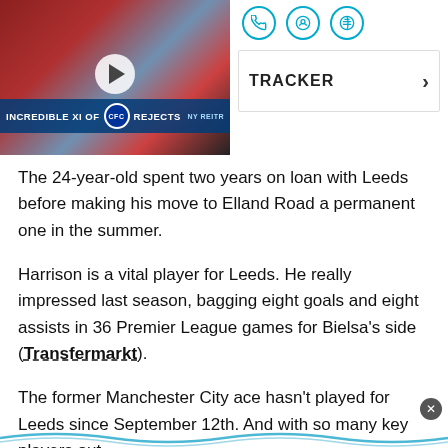[Figure (screenshot): Video thumbnail showing three footballers (one in red, one in grey/blue, one in black and red AC Milan kit) with text overlay reading 'INCREDIBLE XI OF [Chelsea badge] REJECTS' and a play button in the center]
[Figure (screenshot): Social sharing icons: WhatsApp (phone), Reddit (alien), Pinterest (P) in circular blue outlines, alongside a TRACKER navigation element with a right chevron arrow]
The 24-year-old spent two years on loan with Leeds before making his move to Elland Road a permanent one in the summer.
Harrison is a vital player for Leeds. He really impressed last season, bagging eight goals and eight assists in 36 Premier League games for Bielsa's side (Transfermarkt).
The former Manchester City ace hasn't played for Leeds since September 12th. And with so many key players out